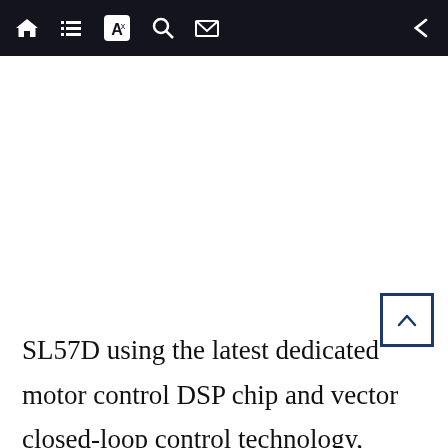Navigation bar with home, list, translate, search, mail icons and back arrow
[Figure (other): Scroll-to-top button with upward caret (^) icon, positioned at lower right of page]
SL57D using the latest dedicated motor control DSP chip and vector closed-loop control technology, completely overcome the open-loop